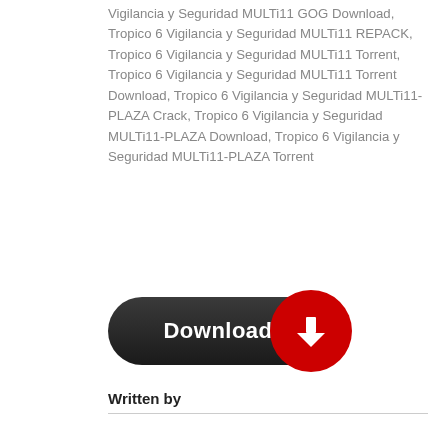Vigilancia y Seguridad MULTi11 GOG Download, Tropico 6 Vigilancia y Seguridad MULTi11 REPACK, Tropico 6 Vigilancia y Seguridad MULTi11 Torrent, Tropico 6 Vigilancia y Seguridad MULTi11 Torrent Download, Tropico 6 Vigilancia y Seguridad MULTi11-PLAZA Crack, Tropico 6 Vigilancia y Seguridad MULTi11-PLAZA Download, Tropico 6 Vigilancia y Seguridad MULTi11-PLAZA Torrent
[Figure (illustration): A download button consisting of a dark pill-shaped button with white bold text 'Download' and a red circle on the right containing a white downward arrow icon.]
Written by